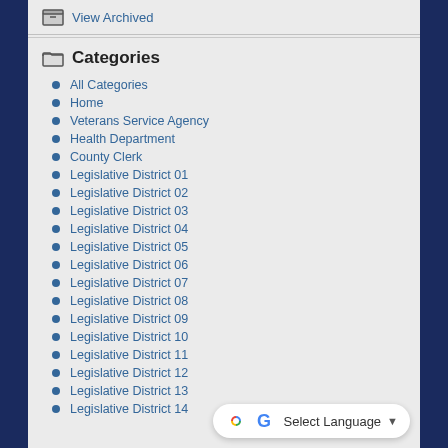View Archived
Categories
All Categories
Home
Veterans Service Agency
Health Department
County Clerk
Legislative District 01
Legislative District 02
Legislative District 03
Legislative District 04
Legislative District 05
Legislative District 06
Legislative District 07
Legislative District 08
Legislative District 09
Legislative District 10
Legislative District 11
Legislative District 12
Legislative District 13
Legislative District 14